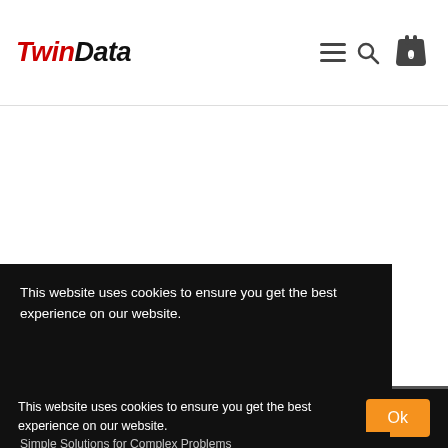[Figure (logo): Twin Data logo: 'Twin' in red bold italic and 'Data' in black bold italic]
This website uses cookies to ensure you get the best experience on our website.
This website uses cookies to ensure you get the best experience on our website. Learn More
Simple Solutions for Complex Problems